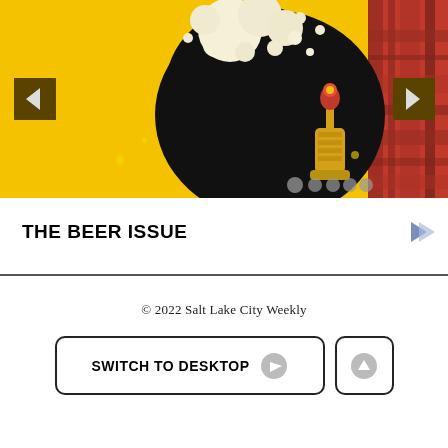[Figure (illustration): Beer issue banner illustration: yellow background with large black circular splash/blob, white foam bubbles at top, a brass beer tap faucet with red handle on right side, plaid/tartan panel on far right, navigation left/right arrows on sides, and slider dots at bottom right.]
THE BEER ISSUE
© 2022 Salt Lake City Weekly
SWITCH TO DESKTOP
↑